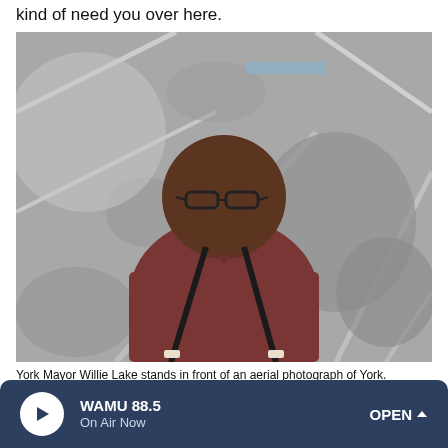kind of need you over here.
[Figure (photo): York Mayor Willie Lake standing in front of a large black-and-white aerial photograph of York. He is a heavyset Black man wearing glasses, a dark reddish-maroon polo shirt, and black suspenders.]
York Mayor Willie Lake stands in front of an aerial photograph of York.
Stephan Bisaha for NPR
WAMU 88.5 On Air Now OPEN ^